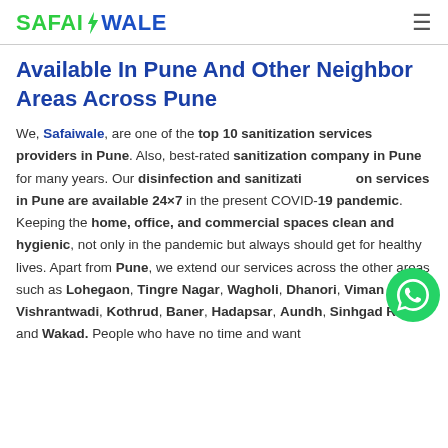SAFAIWALE
Available In Pune And Other Neighbor Areas Across Pune
We, Safaiwale, are one of the top 10 sanitization services providers in Pune. Also, best-rated sanitization company in Pune for many years. Our disinfection and sanitization services in Pune are available 24×7 in the present COVID-19 pandemic. Keeping the home, office, and commercial spaces clean and hygienic, not only in the pandemic but always should get for healthy lives. Apart from Pune, we extend our services across the other areas such as Lohegaon, Tingre Nagar, Wagholi, Dhanori, Viman Nagar, Vishrantwadi, Kothrud, Baner, Hadapsar, Aundh, Sinhgad Road, and Wakad. People who have no time and want